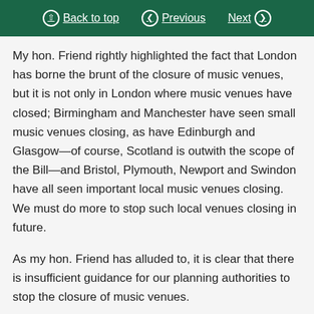Back to top | Previous | Next
My hon. Friend rightly highlighted the fact that London has borne the brunt of the closure of music venues, but it is not only in London where music venues have closed; Birmingham and Manchester have seen small music venues closing, as have Edinburgh and Glasgow—of course, Scotland is outwith the scope of the Bill—and Bristol, Plymouth, Newport and Swindon have all seen important local music venues closing. We must do more to stop such local venues closing in future.
As my hon. Friend has alluded to, it is clear that there is insufficient guidance for our planning authorities to stop the closure of music venues.
11.25am